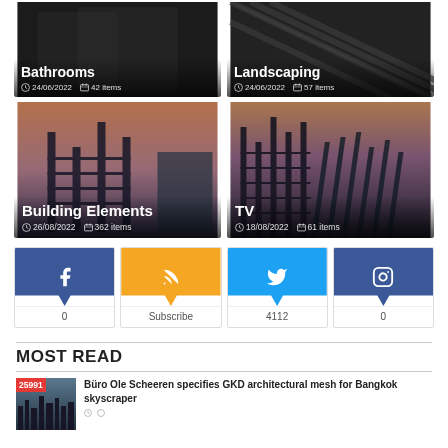[Figure (photo): Bathrooms category card — dark interior photo with text overlay: Bathrooms, 24/06/2022, 42 items]
[Figure (photo): Landscaping category card — metallic mesh/grid photo with text overlay: Landscaping, 24/06/2022, 57 items]
[Figure (photo): Building Elements category card — steel structure construction photo with text overlay: Building Elements, 26/08/2022, 362 items]
[Figure (photo): TV category card — industrial/warehouse photo with text overlay: TV, 18/08/2022, 61 items]
[Figure (infographic): Social media buttons row: Facebook (0), RSS Subscribe, Twitter (4112), Instagram (0)]
MOST READ
[Figure (photo): Thumbnail for article: Büro Ole Scheeren specifies GKD architectural mesh for Bangkok skyscraper, badge 25991]
Büro Ole Scheeren specifies GKD architectural mesh for Bangkok skyscraper